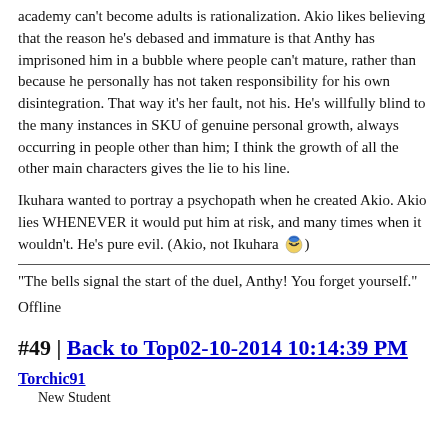academy can't become adults is rationalization. Akio likes believing that the reason he's debased and immature is that Anthy has imprisoned him in a bubble where people can't mature, rather than because he personally has not taken responsibility for his own disintegration.  That way it's her fault, not his.  He's willfully blind to the many instances in SKU of genuine personal growth, always occurring in people other than him; I think the growth of all the other main characters gives the lie to his line.
Ikuhara wanted to portray a psychopath when he created Akio. Akio lies WHENEVER it would put him at risk, and many times when it wouldn't. He's pure evil. (Akio, not Ikuhara [emoji])
"The bells signal the start of the duel, Anthy! You forget yourself."
Offline
#49 | Back to Top02-10-2014 10:14:39 PM
Torchic91
New Student